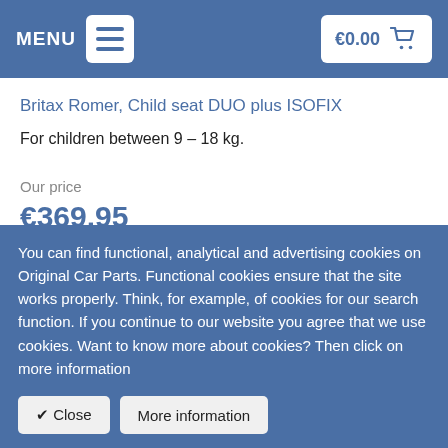MENU  €0.00
Britax Romer, Child seat DUO plus ISOFIX
For children between 9 – 18 kg.
Our price
€369.95
You can find functional, analytical and advertising cookies on Original Car Parts. Functional cookies ensure that the site works properly. Think, for example, of cookies for our search function. If you continue to our website you agree that we use cookies. Want to know more about cookies? Then click on more information
✔ Close   More information